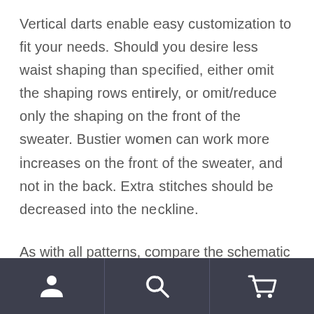Vertical darts enable easy customization to fit your needs. Should you desire less waist shaping than specified, either omit the shaping rows entirely, or omit/reduce only the shaping on the front of the sweater. Bustier women can work more increases on the front of the sweater, and not in the back. Extra stitches should be decreased into the neckline.
As with all patterns, compare the schematic against your own
[Figure (other): Bottom navigation bar with three icons: user/account icon, search icon, and shopping cart icon on dark background]